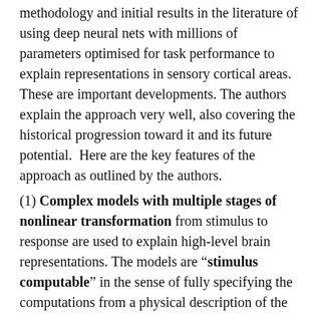methodology and initial results in the literature of using deep neural nets with millions of parameters optimised for task performance to explain representations in sensory cortical areas. These are important developments. The authors explain the approach very well, also covering the historical progression toward it and its future potential.  Here are the key features of the approach as outlined by the authors.
(1) Complex models with multiple stages of nonlinear transformation from stimulus to response are used to explain high-level brain representations. The models are "stimulus computable" in the sense of fully specifying the computations from a physical description of the